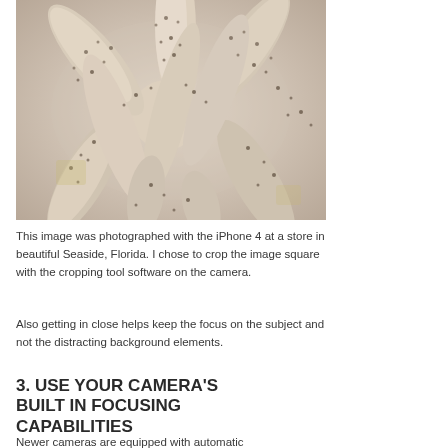[Figure (photo): Close-up photograph of white/cream starfish arms with small dark spots, piled together, taken with iPhone 4 at a store in Seaside, Florida.]
This image was photographed with the iPhone 4 at a store in beautiful Seaside, Florida. I chose to crop the image square with the cropping tool software on the camera.
Also getting in close helps keep the focus on the subject and not the distracting background elements.
3. USE YOUR CAMERA'S BUILT IN FOCUSING CAPABILITIES
Newer cameras are equipped with automatic